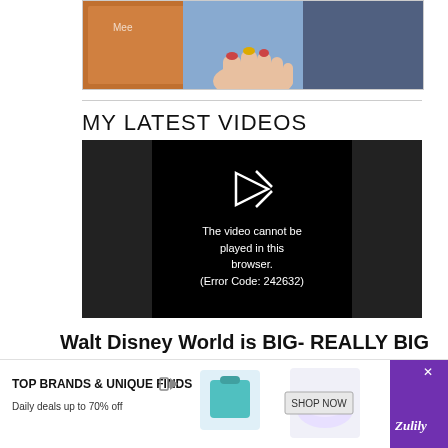[Figure (photo): Hands holding several graphic novels or book covers against a light background]
MY LATEST VIDEOS
[Figure (screenshot): Video player showing error message: The video cannot be played in this browser. (Error Code: 242632)]
Walt Disney World is BIG- REALLY BIG
[Figure (infographic): Advertisement banner: TOP BRANDS & UNIQUE FINDS - Daily deals up to 70% off - SHOP NOW - Zulily]